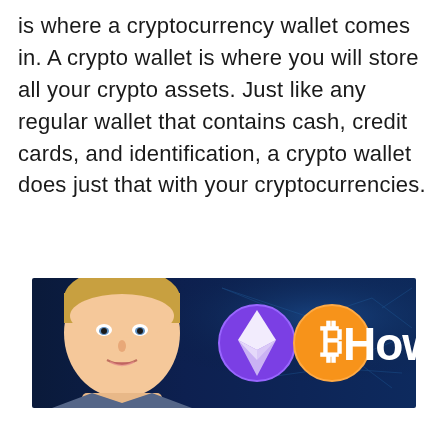is where a cryptocurrency wallet comes in. A crypto wallet is where you will store all your crypto assets. Just like any regular wallet that contains cash, credit cards, and identification, a crypto wallet does just that with your cryptocurrencies.
[Figure (photo): Video thumbnail showing a man with blonde hair on the left side against a dark blue digital/network background, with an Ethereum logo (purple circle with diamond shape), a Bitcoin logo (orange circle with B symbol), and the word 'How' in large white bold text on the right.]